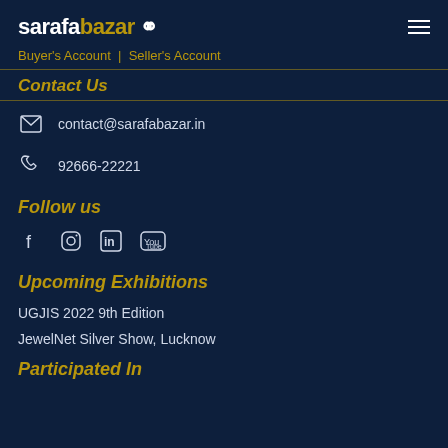sarafabazar | Buyer's Account | Seller's Account
Contact Us
contact@sarafabazar.in
92666-22221
Follow us
[Figure (infographic): Social media icons: Facebook, Instagram, LinkedIn, YouTube]
Upcoming Exhibitions
UGJIS 2022 9th Edition
JewelNet Silver Show, Lucknow
Participated In